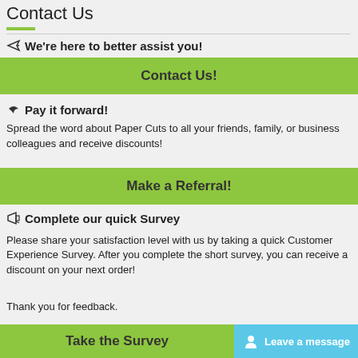Contact Us
✈ We're here to better assist you!
[Figure (other): Green button labeled 'Contact Us!']
↪ Pay it forward!
Spread the word about Paper Cuts to all your friends, family, or business colleagues and receive discounts!
[Figure (other): Green button labeled 'Make a Referral!']
🔔 Complete our quick Survey
Please share your satisfaction level with us by taking a quick Customer Experience Survey. After you complete the short survey, you can receive a discount on your next order!
Thank you for feedback.
[Figure (other): Green button labeled 'Take the Survey' with a blue 'Leave a message' chat button]